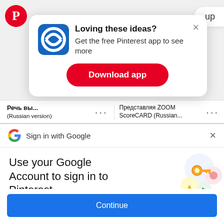[Figure (screenshot): Pinterest app download popup modal with blue app icon, 'Loving these ideas? Get the free Pinterest app to see more' text, and red Download app button]
Речь вы... (Russian version) ... Представляя ZOOM ScoreCARD (Russian... ...
[Figure (screenshot): Google Sign in with Google bar with Google G logo and X close button]
Use your Google Account to sign in to Pinterest
No more passwords to remember. Signing in is fast, simple and secure.
[Figure (illustration): Google key illustration with colorful circles and golden key]
Continue